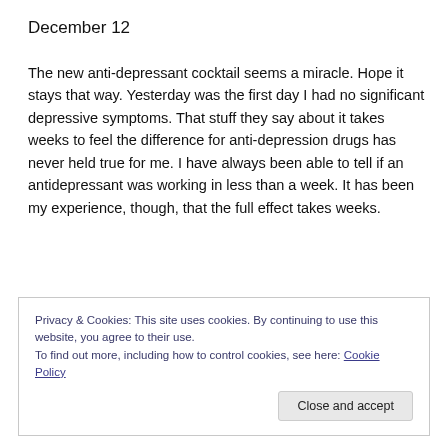December 12
The new anti-depressant cocktail seems a miracle. Hope it stays that way. Yesterday was the first day I had no significant depressive symptoms. That stuff they say about it takes weeks to feel the difference for anti-depression drugs has never held true for me. I have always been able to tell if an antidepressant was working in less than a week. It has been my experience, though, that the full effect takes weeks.
Privacy & Cookies: This site uses cookies. By continuing to use this website, you agree to their use.
To find out more, including how to control cookies, see here: Cookie Policy
Close and accept